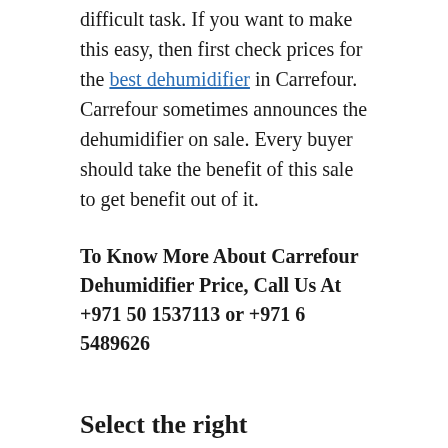difficult task. If you want to make this easy, then first check prices for the best dehumidifier in Carrefour. Carrefour sometimes announces the dehumidifier on sale. Every buyer should take the benefit of this sale to get benefit out of it.
To Know More About Carrefour Dehumidifier Price, Call Us At +971 50 1537113 or +971 6 5489626
Select the right dehumidifier.
To select the right dehumidifier brand, first, do research. Make a list of top ten dehumidifiers